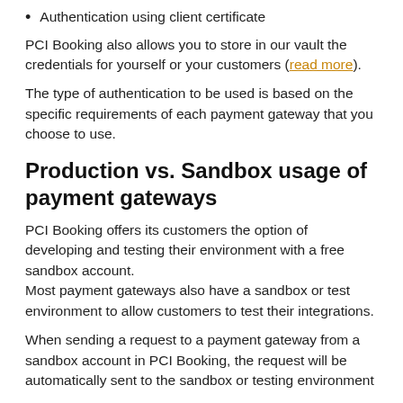Authentication using client certificate
PCI Booking also allows you to store in our vault the credentials for yourself or your customers (read more).
The type of authentication to be used is based on the specific requirements of each payment gateway that you choose to use.
Production vs. Sandbox usage of payment gateways
PCI Booking offers its customers the option of developing and testing their environment with a free sandbox account.
Most payment gateways also have a sandbox or test environment to allow customers to test their integrations.
When sending a request to a payment gateway from a sandbox account in PCI Booking, the request will be automatically sent to the sandbox or testing environment